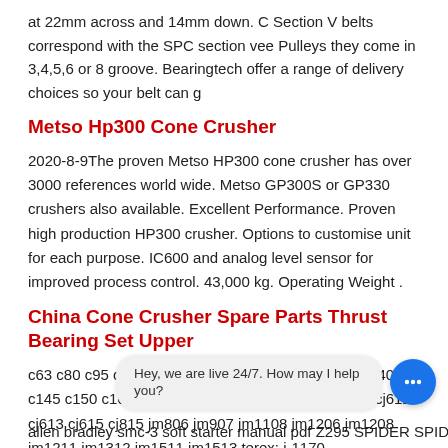at 22mm across and 14mm down. C Section V belts correspond with the SPC section vee Pulleys they come in 3,4,5,6 or 8 groove. Bearingtech offer a range of delivery choices so your belt can g
Metso Hp300 Cone Crusher
2020-8-9The proven Metso HP300 cone crusher has over 3000 references world wide. Metso GP300S or GP330 crushers also available. Excellent Performance. Proven high production HP300 crusher. Options to customise unit for each purpose. IC600 and analog level sensor for improved process control. 43,000 kg. Operating Weight .
China Cone Crusher Spare Parts Thrust Bearing Set Upper
c63 c80 c95 c96 c105 c106 c100 c110 c120 c125 c140 c145 c150 c160 c200 cj408 cj409 cj411 cj412 cj612 cj612 cj613 cj615 cj815 jm806 jm907 jm1108 jm1206 jm1208 jm1211 jm1312 jm1511 jm1513 terex: j-1170
allen bradley smc-3 soft starter manual pdf Z295 SPIDER SPIDER